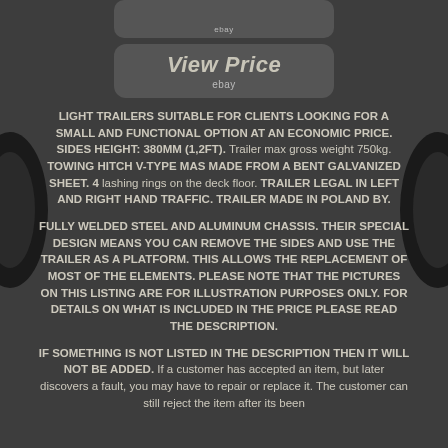[Figure (screenshot): Partial eBay button at top, partially cropped, showing 'ebay' label]
[Figure (screenshot): eBay 'View Price' button with italic text and 'ebay' label below]
LIGHT TRAILERS SUITABLE FOR CLIENTS LOOKING FOR A SMALL AND FUNCTIONAL OPTION AT AN ECONOMIC PRICE. SIDES HEIGHT: 380MM (1,2FT). Trailer max gross weight 750kg. TOWING HITCH V-TYPE MAS MADE FROM A BENT GALVANIZED SHEET. 4 lashing rings on the deck floor. TRAILER LEGAL IN LEFT AND RIGHT HAND TRAFFIC. TRAILER MADE IN POLAND BY.
FULLY WELDED STEEL AND ALUMINUM CHASSIS. THEIR SPECIAL DESIGN MEANS YOU CAN REMOVE THE SIDES AND USE THE TRAILER AS A PLATFORM. THIS ALLOWS THE REPLACEMENT OF MOST OF THE ELEMENTS. PLEASE NOTE THAT THE PICTURES ON THIS LISTING ARE FOR ILLUSTRATION PURPOSES ONLY. FOR DETAILS ON WHAT IS INCLUDED IN THE PRICE PLEASE READ THE DESCRIPTION.
IF SOMETHING IS NOT LISTED IN THE DESCRIPTION THEN IT WILL NOT BE ADDED. If a customer has accepted an item, but later discovers a fault, you may have to repair or replace it. The customer can still reject the item after its been